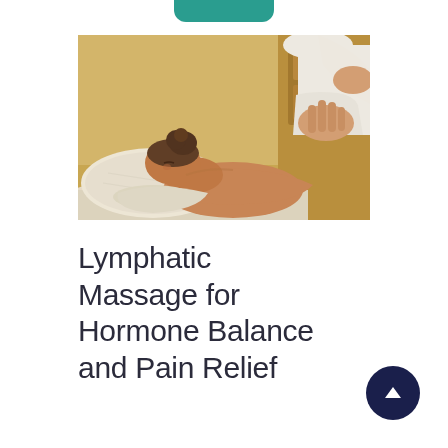[Figure (photo): Woman lying face down on a massage table receiving a back massage from a therapist in a warm-lit spa setting]
Lymphatic Massage for Hormone Balance and Pain Relief